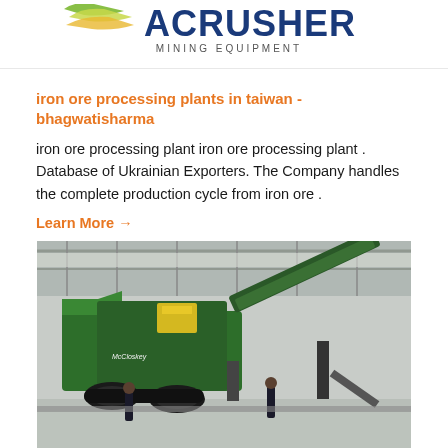[Figure (logo): ACRUSHER Mining Equipment logo banner with green swoosh graphic and bold blue ACRUSHER text]
iron ore processing plants in taiwan - bhagwatisharma
iron ore processing plant iron ore processing plant . Database of Ukrainian Exporters. The Company handles the complete production cycle from iron ore .
Learn More →
[Figure (photo): Large green McCloskey mobile crusher/screening machine inside an industrial warehouse/hangar, with two workers standing near it on a concrete floor]
[Figure (logo): Partial ACRUSHER logo visible at bottom of page]